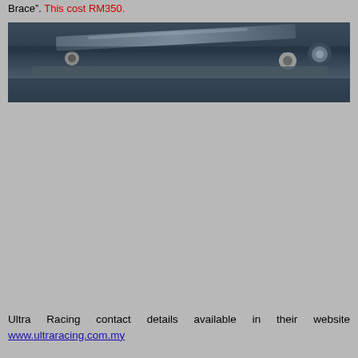Brace". This cost RM350.
[Figure (photo): Photograph of a car undercarriage or engine bay area, showing metal bracing components, bolts, and structural parts in dark metallic tones]
Ultra Racing contact details available in their website www.ultraracing.com.my